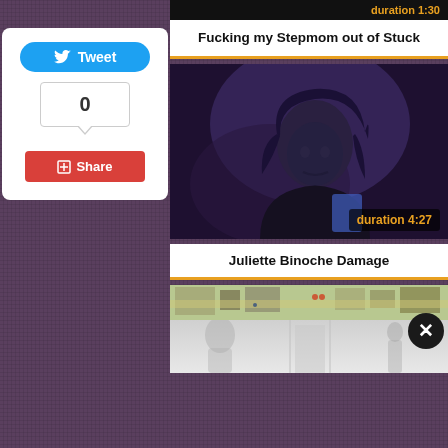duration 1:30
Fucking my Stepmom out of Stuck
[Figure (photo): Dark blurry still from a film showing a person with long dark hair looking down, dim purple-blue tones]
duration 4:27
Juliette Binoche Damage
[Figure (screenshot): Partially visible video thumbnail showing outdoor map-like scene with figures, overlaid with a large X close button]